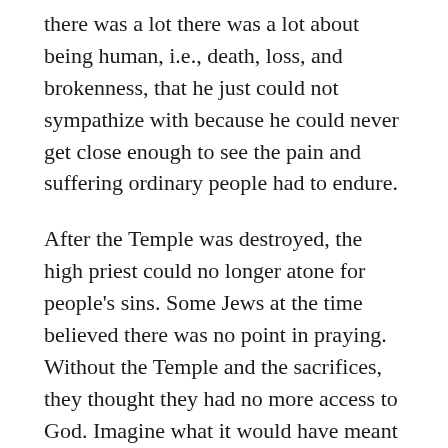there was a lot there was a lot about being human, i.e., death, loss, and brokenness, that he just could not sympathize with because he could never get close enough to see the pain and suffering ordinary people had to endure.
After the Temple was destroyed, the high priest could no longer atone for people's sins. Some Jews at the time believed there was no point in praying. Without the Temple and the sacrifices, they thought they had no more access to God. Imagine what it would have meant to them if they heard and believed, along with Christians, that Jesus has been given the mantle of high priest.